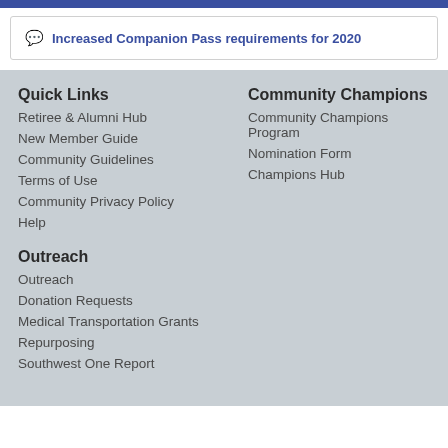Increased Companion Pass requirements for 2020
Quick Links
Retiree & Alumni Hub
New Member Guide
Community Guidelines
Terms of Use
Community Privacy Policy
Help
Community Champions
Community Champions Program
Nomination Form
Champions Hub
Outreach
Outreach
Donation Requests
Medical Transportation Grants
Repurposing
Southwest One Report